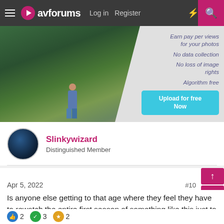avforums  Log in  Register
[Figure (photo): Advertisement banner showing a photographer standing in a mountain forest scene with text: Earn pay per views for your photos, No data collection, No loss of image rights, Algorithm free, Upload for free Now]
Slinkywizard
Distinguished Member
Apr 5, 2022  #10
Is anyone else getting to that age where they feel they have to rewatch the entire first season of something like this just to properly understand the second?